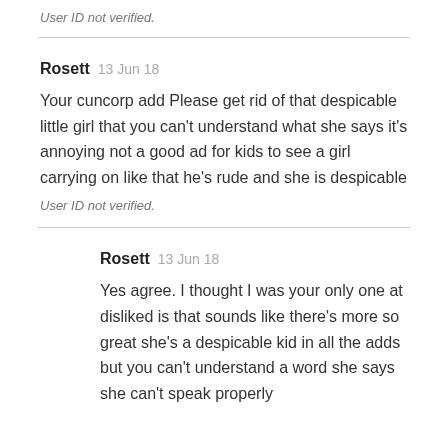User ID not verified.
Rosett  13 Jun 18
Your cuncorp add Please get rid of that despicable little girl that you can't understand what she says it's annoying not a good ad for kids to see a girl carrying on like that he's rude and she is despicable
User ID not verified.
Rosett  13 Jun 18
Yes agree. I thought I was your only one at disliked is that sounds like there's more so great she's a despicable kid in all the adds but you can't understand a word she says she can't speak properly